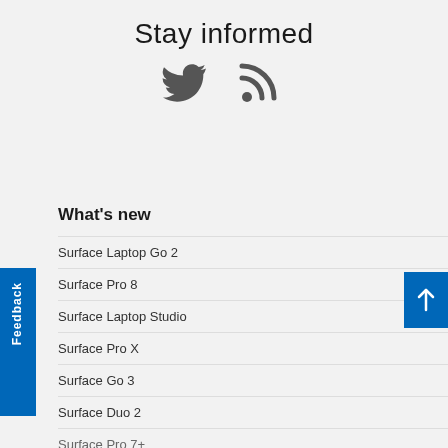Stay informed
[Figure (illustration): Twitter bird icon and RSS feed icon in dark gray]
What's new
Surface Laptop Go 2
Surface Pro 8
Surface Laptop Studio
Surface Pro X
Surface Go 3
Surface Duo 2
Surface Pro 7+